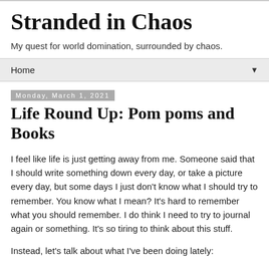Stranded in Chaos
My quest for world domination, surrounded by chaos.
Home
Monday, March 1, 2021
Life Round Up: Pom poms and Books
I feel like life is just getting away from me. Someone said that I should write something down every day, or take a picture every day, but some days I just don't know what I should try to remember. You know what I mean? It's hard to remember what you should remember. I do think I need to try to journal again or something. It's so tiring to think about this stuff.
Instead, let's talk about what I've been doing lately: